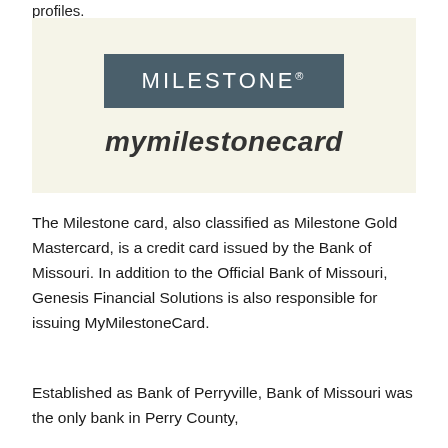profiles.
[Figure (logo): Milestone card logo with dark teal rectangle containing the word MILESTONE with registered trademark, and below it the italic bold text 'mymilestonecard' on a cream/light yellow background]
The Milestone card, also classified as Milestone Gold Mastercard, is a credit card issued by the Bank of Missouri. In addition to the Official Bank of Missouri, Genesis Financial Solutions is also responsible for issuing MyMilestoneCard.
Established as Bank of Perryville, Bank of Missouri was the only bank in Perry County,